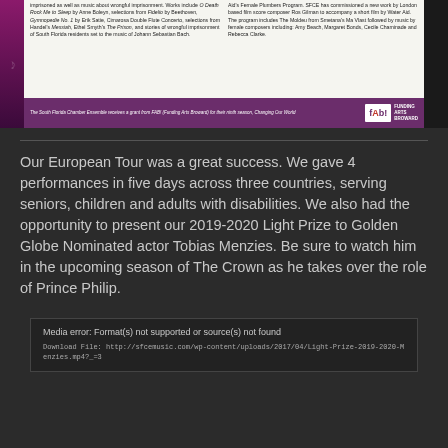[Figure (other): A concert program image block with two columns of text about South Florida Chamber Ensemble programs, and a purple FAB! (Funding Arts Broward) banner at the bottom with grant acknowledgment text.]
Our European Tour was a great success.  We gave 4 performances in five days across three countries, serving seniors, children and adults with disabilities.  We also had the opportunity to present our 2019-2020 Light Prize to Golden Globe Nominated actor Tobias Menzies.  Be sure to watch him in the upcoming season of The Crown as he takes over the role of Prince Philip.
Media error: Format(s) not supported or source(s) not found
Download File: http://sfcemusic.com/wp-content/uploads/2017/04/Light-Prize-2019-2020-Menzies.mp4?_=3